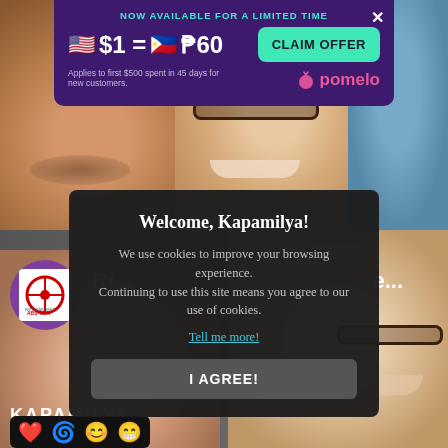[Figure (screenshot): Background: two video frame areas showing people's faces close up. Top half shows three people from chin/mouth level. Bottom half shows a video page interface with ABS-CBN logo, 'Ri...' text, KAPAMILYA label, and emoji reaction bar.]
[Figure (screenshot): Pomelo advertisement banner overlay at top center. Purple background. Text: 'NOW AVAILABLE FOR A LIMITED TIME'. Shows currency exchange rate '$1 = ₱60'. 'CLAIM OFFER' teal button. 'Applies to first $500 spent in 45 days for new customers.' Pomelo logo and brand name.]
[Figure (screenshot): Cookie consent modal dialog. Dark background. Title: 'Welcome, Kapamilya!' Body text: 'We use cookies to improve your browsing experience. Continuing to use this site means you agree to our use of cookies.' Link: 'Tell me more!' Button: 'I AGREE!']